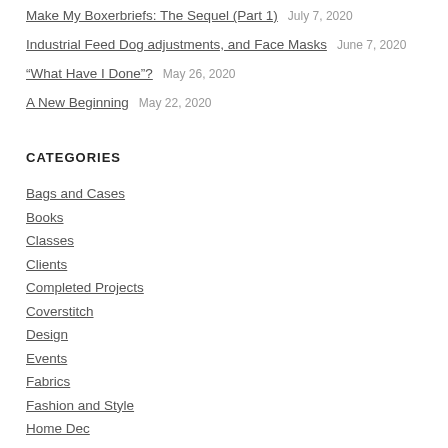Make My Boxerbriefs: The Sequel (Part 1)   July 7, 2020
Industrial Feed Dog adjustments, and Face Masks   June 7, 2020
“What Have I Done”?   May 26, 2020
A New Beginning   May 22, 2020
CATEGORIES
Bags and Cases
Books
Classes
Clients
Completed Projects
Coverstitch
Design
Events
Fabrics
Fashion and Style
Home Dec